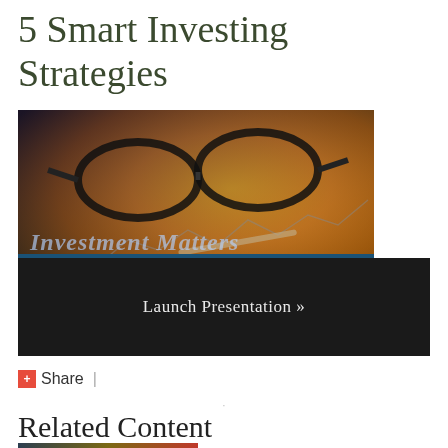5 Smart Investing Strategies
[Figure (photo): Photo of glasses resting on financial charts and documents with warm orange tones, overlaid with text 'Investment Matters' and a blue banner reading '5 Smart Investing Strategies', plus a dark banner with 'Launch Presentation »']
Share |
Related Content